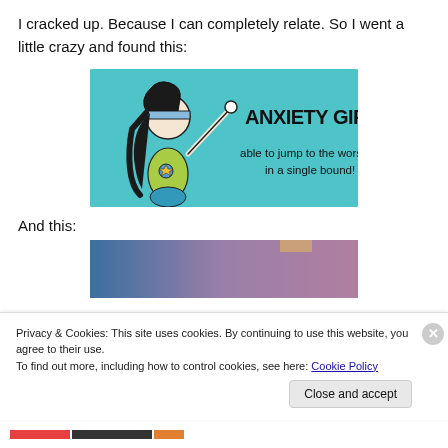I cracked up. Because I can completely relate. So I went a little crazy and found this:
[Figure (illustration): Anxiety Girl cartoon on teal/cyan background. A small cartoon girl with black hair holds a staff. Text reads 'ANXIETY GIRL! able to jump to the worst conclusion in a single bound!']
And this:
[Figure (illustration): Partially visible image with blue-to-purple gradient background and a small tan/brown tab at the top right.]
Privacy & Cookies: This site uses cookies. By continuing to use this website, you agree to their use.
To find out more, including how to control cookies, see here: Cookie Policy
Close and accept